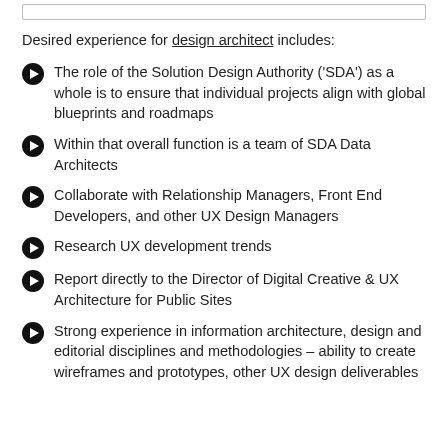Desired experience for design architect includes:
The role of the Solution Design Authority ('SDA') as a whole is to ensure that individual projects align with global blueprints and roadmaps
Within that overall function is a team of SDA Data Architects
Collaborate with Relationship Managers, Front End Developers, and other UX Design Managers
Research UX development trends
Report directly to the Director of Digital Creative & UX Architecture for Public Sites
Strong experience in information architecture, design and editorial disciplines and methodologies – ability to create wireframes and prototypes, other UX design deliverables